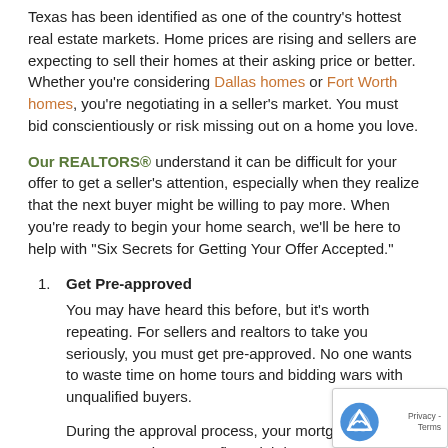Texas has been identified as one of the country's hottest real estate markets. Home prices are rising and sellers are expecting to sell their homes at their asking price or better. Whether you're considering Dallas homes or Fort Worth homes, you're negotiating in a seller's market. You must bid conscientiously or risk missing out on a home you love.
Our REALTORS® understand it can be difficult for your offer to get a seller's attention, especially when they realize that the next buyer might be willing to pay more. When you're ready to begin your home search, we'll be here to help with "Six Secrets for Getting Your Offer Accepted."
Get Pre-approved
You may have heard this before, but it's worth repeating. For sellers and realtors to take you seriously, you must get pre-approved. No one wants to waste time on home tours and bidding wars with unqualified buyers.

During the approval process, your mortgage company reviews your financial data and decides whether or not they would finance you and for how much. The letter they isn't a guarantee, but it tells the buyer that the mortg- company considers you financially ready to buy.